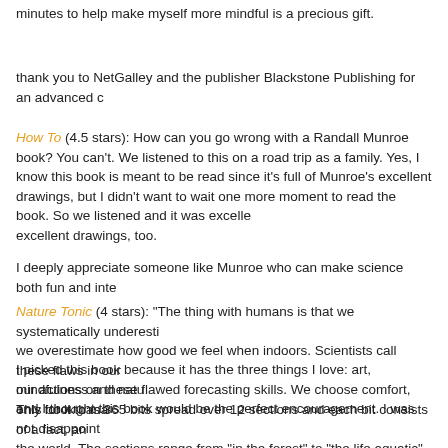minutes to help make myself more mindful is a precious gift.
thank you to NetGalley and the publisher Blackstone Publishing for an advanced c
How To (4.5 stars): How can you go wrong with a Randall Munroe book? You can't. We listened to this on a road trip as a family. Yes, I know this book is meant to be read since it's full of Munroe's excellent drawings, but I didn't want to wait one more moment to read the book. So we listened and it was excellent. Though I'm sure there are excellent drawings, too.
I deeply appreciate someone like Munroe who can make science both fun and inte
Nature Tonic (4 stars): “The thing with humans is that we systematically underesti... we overestimate how good we feel when indoors. Scientists call these flaws in our... our actions on these flawed forecasting skills. We choose comfort, only for it to ma…
I picked this book because it has the three things I love: art, mindfulness and natu… and I thought this book would be the perfect encouragement. I was not disappoint…
This book has 365 bits spread over 12 sections and each bit consists of a fact, an… the world. The sections range from “in the forest” to “the life aquatic” and “traveling… ways you can.